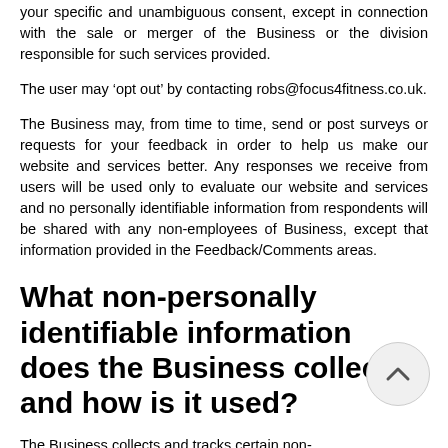your specific and unambiguous consent, except in connection with the sale or merger of the Business or the division responsible for such services provided.
The user may ‘opt out’ by contacting robs@focus4fitness.co.uk.
The Business may, from time to time, send or post surveys or requests for your feedback in order to help us make our website and services better. Any responses we receive from users will be used only to evaluate our website and services and no personally identifiable information from respondents will be shared with any non-employees of Business, except that information provided in the Feedback/Comments areas.
What non-personally identifiable information does the Business collect and how is it used?
The Business collects and tracks certain non-